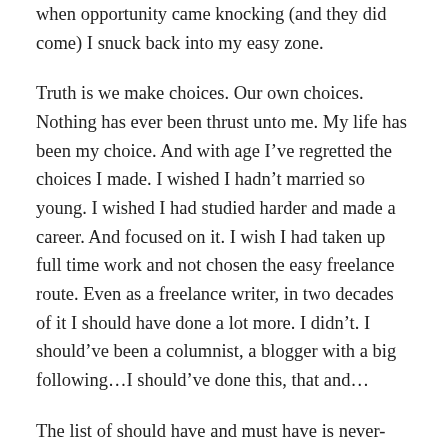when opportunity came knocking (and they did come) I snuck back into my easy zone.
Truth is we make choices. Our own choices. Nothing has ever been thrust unto me. My life has been my choice. And with age I've regretted the choices I made. I wished I hadn't married so young. I wished I had studied harder and made a career. And focused on it. I wish I had taken up full time work and not chosen the easy freelance route. Even as a freelance writer, in two decades of it I should have done a lot more. I didn't. I should've been a columnist, a blogger with a big following…I should've done this, that and…
The list of should have and must have is never-ending. But QED : KB you pulled the short straw. Willingly. How stupid!
This continued. My self loathing, feeling lesser than others, repenting and regretting. Then my book happened. In a strange